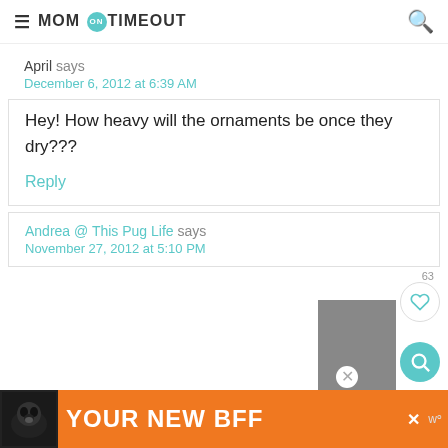MOM ON TIMEOUT
April says
December 6, 2012 at 6:39 AM
Hey! How heavy will the ornaments be once they dry???
Reply
63
Andrea @ This Pug Life says
November 27, 2012 at 5:10 PM
[Figure (other): Advertisement banner with dog image and text YOUR NEW BFF on orange background]
[Figure (other): Gray placeholder box]